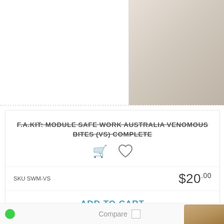[Figure (photo): Top image showing a product or fabric texture in beige/neutral tones with a keyboard or grid-like pattern visible]
F.A.KIT: MODULE SAFE WORK AUSTRALIA VENOMOUS BITES (VS) COMPLETE
SKU SWM-VS
$20.00
ADD TO CART
1
Compare